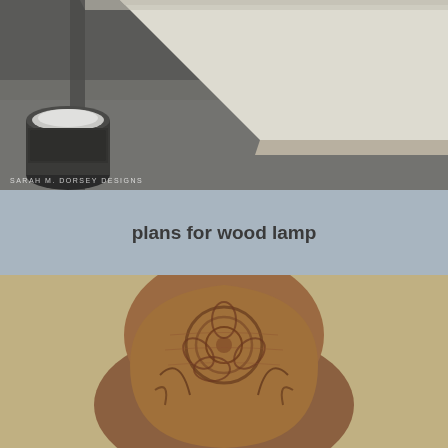[Figure (photo): Woodworking photo showing plywood or wood panels on a workbench/floor surface with a paint can in the lower left corner. Watermark reads 'SARAH M. DORSEY DESIGNS' in the lower left.]
plans for wood lamp
[Figure (photo): Photo of a carved wooden piece with a rose/floral design, warm brown wood tones, against a tan/beige background.]